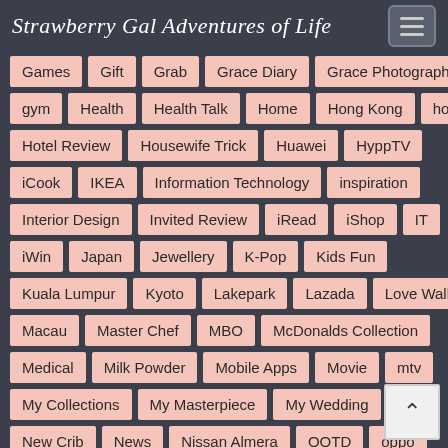Strawberry Gal Adventures of Life
Games
Gift
Grab
Grace Diary
Grace Photography
gym
Health
Health Talk
Home
Hong Kong
hotel
Hotel Review
Housewife Trick
Huawei
HyppTV
iCook
IKEA
Information Technology
inspiration
Interior Design
Invited Review
iRead
iShop
IT
iWin
Japan
Jewellery
K-Pop
Kids Fun
Kuala Lumpur
Kyoto
Lakepark
Lazada
Love Walk
Macau
Master Chef
MBO
McDonalds Collection
Medical
Milk Powder
Mobile Apps
Movie
mtv
My Collections
My Masterpiece
My Wedding
New Crib
News
Nissan Almera
OOTD
oppo